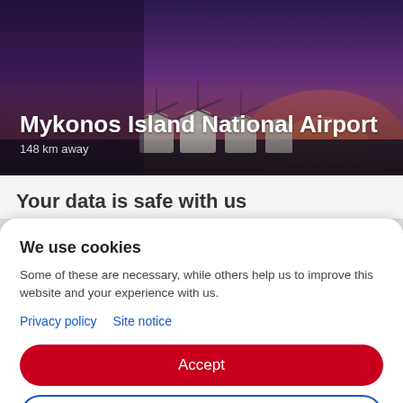[Figure (photo): Hero image of Mykonos windmills at dusk/sunset with purple sky]
Mykonos Island National Airport
148 km away
Your data is safe with us
We use cookies
Some of these are necessary, while others help us to improve this website and your experience with us.
Privacy policy   Site notice
Accept
Settings